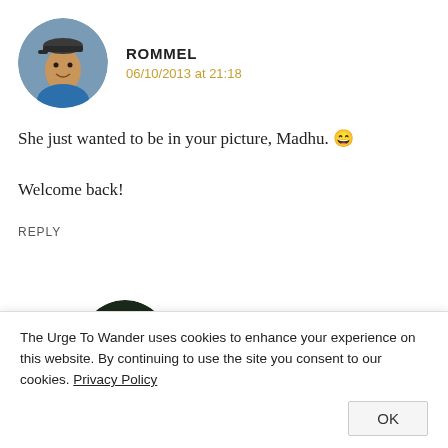[Figure (photo): Circular avatar photo of a man wearing a cap and blue shirt]
ROMMEL
06/10/2013 at 21:18
She just wanted to be in your picture, Madhu. 😄

Welcome back!
REPLY
[Figure (photo): Circular avatar photo of a dark nature/bird scene]
MADHU
The Urge To Wander uses cookies to enhance your experience on this website. By continuing to use the site you consent to our cookies. Privacy Policy
OK